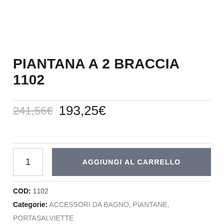PIANTANA A 2 BRACCIA 1102
241,56€ 193,25€
1  AGGIUNGI AL CARRELLO
COD: 1102
Categorie: ACCESSORI DA BAGNO, PIANTANE, PORTASALVIETTE